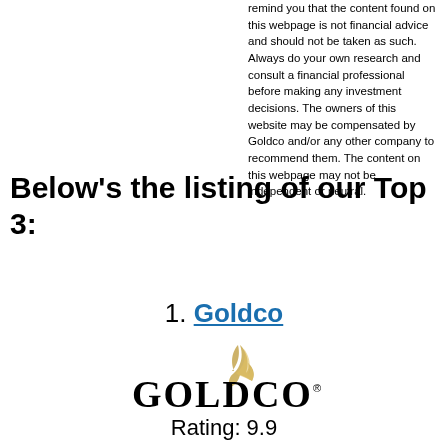remind you that the content found on this webpage is not financial advice and should not be taken as such. Always do your own research and consult a financial professional before making any investment decisions. The owners of this website may be compensated by Goldco and/or any other company to recommend them. The content on this webpage may not be independent or neutral.
Below’s the listing of our Top 3:
1. Goldco
[Figure (logo): Goldco logo with gold flame accent above the text GOLDCO with registered trademark symbol]
Rating: 9.9